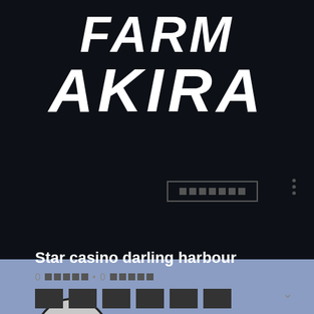[Figure (logo): Farm Akira logo text in white bold italic letters on dark background]
[Figure (screenshot): Social media profile UI with blue header, circular avatar with letter S, follow button with redacted text, three-dot menu, username Star casino darling harbour, stats showing 0 redacted blocks, chevron down, and bottom navigation blocks]